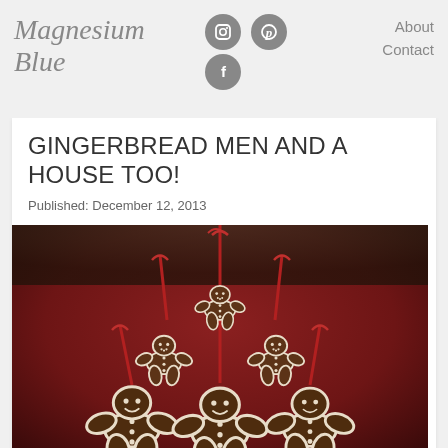Magnesium Blue
GINGERBREAD MEN AND A HOUSE TOO!
Published: December 12, 2013
[Figure (photo): Six gingerbread man cookies decorated with white icing and tied with red ribbons, arranged in a triangular pyramid pattern on a red surface. The cookies have smiley faces and decorative icing details.]